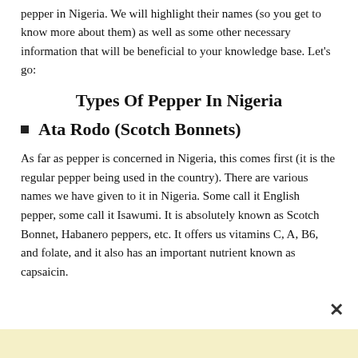pepper in Nigeria. We will highlight their names (so you get to know more about them) as well as some other necessary information that will be beneficial to your knowledge base. Let's go:
Types Of Pepper In Nigeria
Ata Rodo (Scotch Bonnets)
As far as pepper is concerned in Nigeria, this comes first (it is the regular pepper being used in the country). There are various names we have given to it in Nigeria. Some call it English pepper, some call it Isawumi. It is absolutely known as Scotch Bonnet, Habanero peppers, etc. It offers us vitamins C, A, B6, and folate, and it also has an important nutrient known as capsaicin.